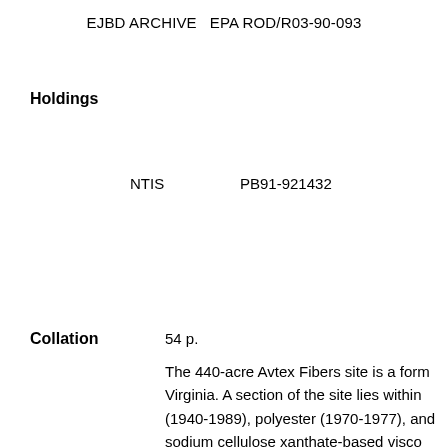EJBD ARCHIVE   EPA ROD/R03-90-093
Holdings
NTIS   PB91-921432
Collation
54 p.
The 440-acre Avtex Fibers site is a form Virginia. A section of the site lies within (1940-1989), polyester (1970-1977), and sodium cellulose xanthate-based visco